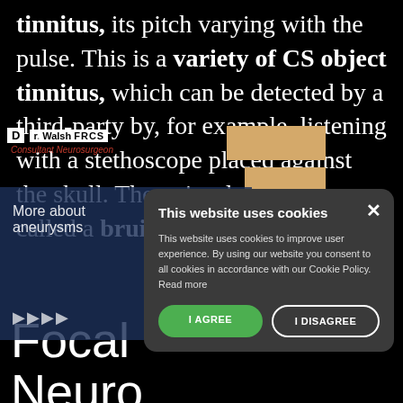tinnitus, its pitch varying with the pulse. This is a variety of CS object tinnitus, which can be detected by a third-party by, for example, listening with a stethoscope placed against the skull. The noise detected is called a bruit.
[Figure (screenshot): Website header with logo 'D' and text 'Dr. Walsh FRCS, Consultant Neurosurgeon' overlaid on the article background, with tan highlight boxes and a dark blue navigation overlay panel containing 'More about aneurysms' text and a hamburger menu icon, and skip/forward arrow icons.]
[Figure (screenshot): Cookie consent dialog box with dark background reading 'This website uses cookies'. Body text: 'This website uses cookies to improve user experience. By using our website you consent to all cookies in accordance with our Cookie Policy. Read more'. Two buttons: 'I AGREE' (green) and 'I DISAGREE' (outlined). Close X button in top right.]
Focal Neuro Deficits